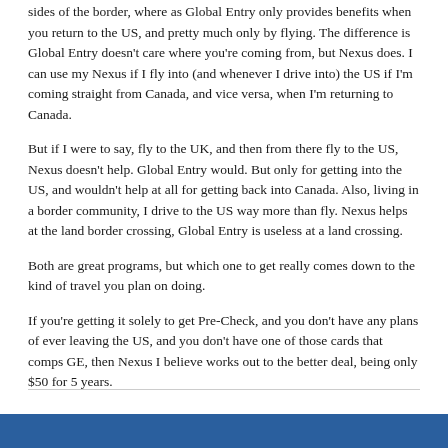sides of the border, where as Global Entry only provides benefits when you return to the US, and pretty much only by flying. The difference is Global Entry doesn't care where you're coming from, but Nexus does. I can use my Nexus if I fly into (and whenever I drive into) the US if I'm coming straight from Canada, and vice versa, when I'm returning to Canada.
But if I were to say, fly to the UK, and then from there fly to the US, Nexus doesn't help. Global Entry would. But only for getting into the US, and wouldn't help at all for getting back into Canada. Also, living in a border community, I drive to the US way more than fly. Nexus helps at the land border crossing, Global Entry is useless at a land crossing.
Both are great programs, but which one to get really comes down to the kind of travel you plan on doing.
If you're getting it solely to get Pre-Check, and you don't have any plans of ever leaving the US, and you don't have one of those cards that comps GE, then Nexus I believe works out to the better deal, being only $50 for 5 years.
Sent from my iPhone using Tapatalk